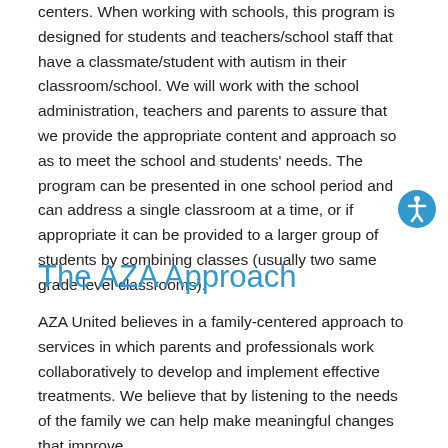centers.  When working with schools, this program is designed for students and teachers/school staff that have a classmate/student with autism in their classroom/school. We will work with the school administration, teachers and parents to assure that we provide the appropriate content and approach so as to meet the school and students' needs. The program can be presented in one school period and can address a single classroom at a time, or if appropriate it can be provided to a larger group of students by combining classes (usually two same grade level classrooms).
The AZA Approach
AZA United believes in a family-centered approach to services in which parents and professionals work collaboratively to develop and implement effective treatments.  We believe that by listening to the needs of the family we can help make meaningful changes that improve